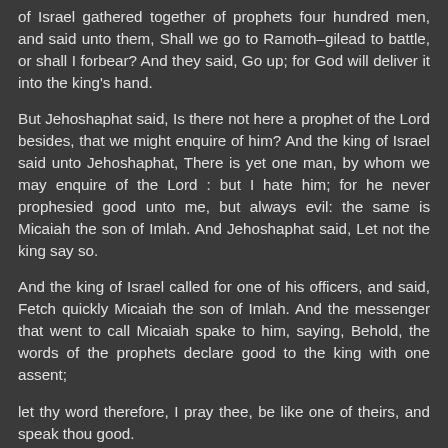of Israel gathered together of prophets four hundred men, and said unto them, Shall we go to Ramoth–gilead to battle, or shall I forbear? And they said, Go up; for God will deliver it into the king's hand.
But Jehoshaphat said, Is there not here a prophet of the Lord besides, that we might enquire of him? And the king of Israel said unto Jehoshaphat, There is yet one man, by whom we may enquire of the Lord : but I hate him; for he never prophesied good unto me, but always evil: the same is Micaiah the son of Imlah. And Jehoshaphat said, Let not the king say so.
And the king of Israel called for one of his officers, and said, Fetch quickly Micaiah the son of Imlah. And the messenger that went to call Micaiah spake to him, saying, Behold, the words of the prophets declare good to the king with one assent;
let thy word therefore, I pray thee, be like one of theirs, and speak thou good.